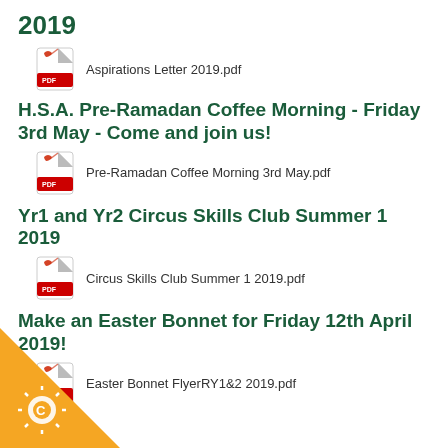2019
[Figure (illustration): PDF file icon (red Acrobat-style icon with PDF label)]
Aspirations Letter 2019.pdf
H.S.A. Pre-Ramadan Coffee Morning - Friday 3rd May - Come and join us!
[Figure (illustration): PDF file icon (red Acrobat-style icon with PDF label)]
Pre-Ramadan Coffee Morning 3rd May.pdf
Yr1 and Yr2 Circus Skills Club Summer 1 2019
[Figure (illustration): PDF file icon (red Acrobat-style icon with PDF label)]
Circus Skills Club Summer 1 2019.pdf
Make an Easter Bonnet for Friday 12th April 2019!
[Figure (illustration): PDF file icon (red Acrobat-style icon with PDF label)]
Easter Bonnet FlyerRY1&2 2019.pdf
[Figure (illustration): Yellow/orange triangle corner badge with a sun/star icon and letter C]